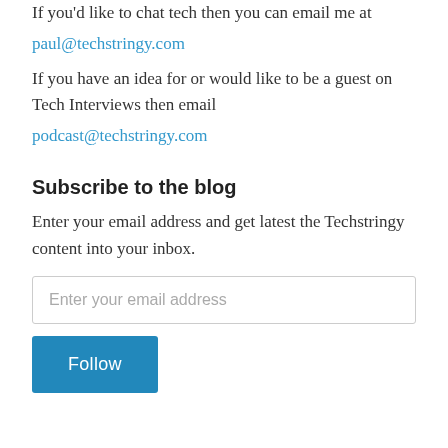If you'd like to chat tech then you can email me at
paul@techstringy.com
If you have an idea for or would like to be a guest on Tech Interviews then email
podcast@techstringy.com
Subscribe to the blog
Enter your email address and get latest the Techstringy content into your inbox.
Enter your email address
Follow